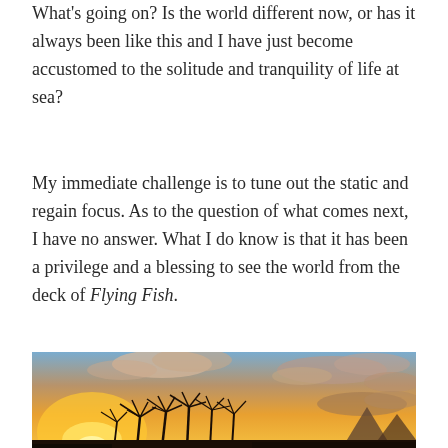What's going on? Is the world different now, or has it always been like this and I have just become accustomed to the solitude and tranquility of life at sea?
My immediate challenge is to tune out the static and regain focus. As to the question of what comes next, I have no answer. What I do know is that it has been a privilege and a blessing to see the world from the deck of Flying Fish.
[Figure (photo): A tropical sunset photograph showing silhouetted palm trees against a vivid orange and golden sky with dramatic clouds and mountains or islands in the background.]